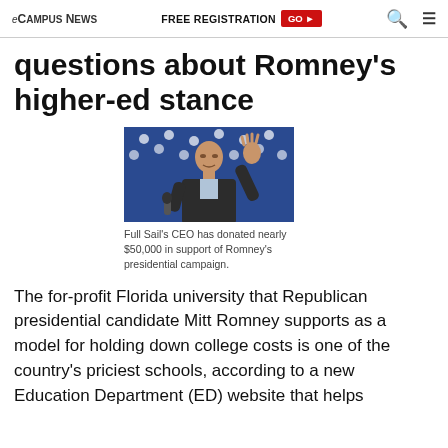eCampus News | FREE REGISTRATION GO | Search | Menu
questions about Romney's higher-ed stance
[Figure (photo): Man in dark suit waving hand in front of an American flag backdrop, holding a microphone]
Full Sail's CEO has donated nearly $50,000 in support of Romney's presidential campaign.
The for-profit Florida university that Republican presidential candidate Mitt Romney supports as a model for holding down college costs is one of the country's priciest schools, according to a new Education Department (ED) website that helps